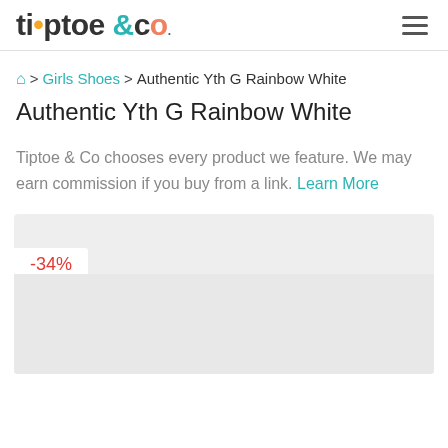tiptoe & co
Home > Girls Shoes > Authentic Yth G Rainbow White
Authentic Yth G Rainbow White
Tiptoe & Co chooses every product we feature. We may earn commission if you buy from a link. Learn More
[Figure (other): Product image placeholder with -34% discount badge, light gray background]